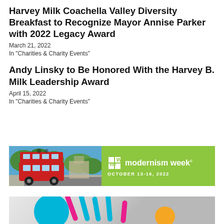Harvey Milk Coachella Valley Diversity Breakfast to Recognize Mayor Annise Parker with 2022 Legacy Award
March 21, 2022
In "Charities & Charity Events"
Andy Linsky to Be Honored With the Harvey B. Milk Leadership Award
April 15, 2022
In "Charities & Charity Events"
[Figure (infographic): Advertisement banner for Modernism Week October 13-16, 2022, showing a red double-decker tour bus on the left side and a green background with the Modernism Week logo and date on the right.]
[Figure (infographic): Partial advertisement with colorful abstract shapes including a teal circle, pink and teal stick shapes on a light gray background.]